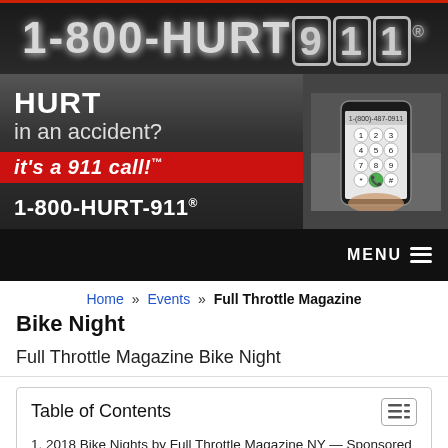[Figure (logo): 1-800-HURT911 logo banner with phone image. Text: HURT in an accident? it's a 911 call! 1-800-HURT-911]
Home » Events » Full Throttle Magazine Bike Night
Full Throttle Magazine Bike Night
Full Throttle Magazine Bike Night
Table of Contents
1. 2018 Bike Nights by Full Throttle Magazine NY — Sponsored in part by 1-800-HURT-911®
2. Free Stuff
3. When